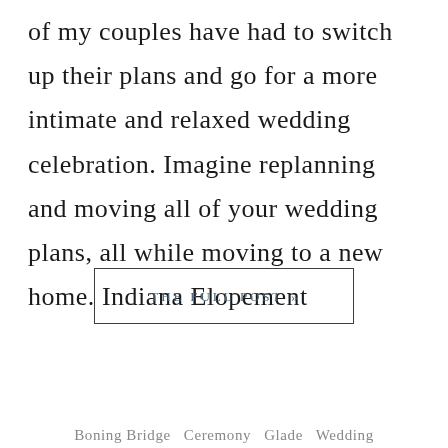of my couples have had to switch up their plans and go for a more intimate and relaxed wedding celebration. Imagine replanning and moving all of your wedding plans, all while moving to a new home. Indiana Elopement
THE FULL POST »
Boning Bridge Ceremony Glade Wedding